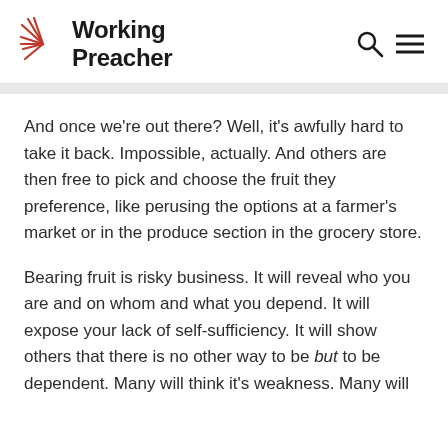Working Preacher
And once we’re out there? Well, it’s awfully hard to take it back. Impossible, actually. And others are then free to pick and choose the fruit they preference, like perusing the options at a farmer’s market or in the produce section in the grocery store.
Bearing fruit is risky business. It will reveal who you are and on whom and what you depend. It will expose your lack of self-sufficiency. It will show others that there is no other way to be but to be dependent. Many will think it’s weakness. Many will